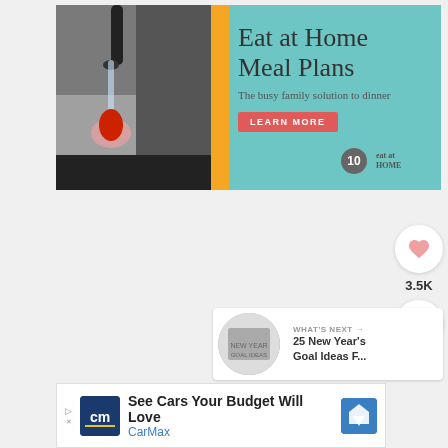[Figure (infographic): Eat at Home Meal Plans banner advertisement with teal background, kitchen photo on left showing hand washing a pepper under faucet, yellow accent bar, large serif title text 'Eat at Home Meal Plans', subtitle 'The busy family solution to dinner', red 'LEARN MORE' button, and eat at home logo in lower right]
[Figure (infographic): Social sharing widget with heart/like button showing 3.5K count and share button]
[Figure (infographic): What's Next recommendation panel showing '25 New Year's Goal Ideas F...' with thumbnail image]
[Figure (infographic): CarMax advertisement banner: 'See Cars Your Budget Will Love' with CarMax logo and map pin icon]